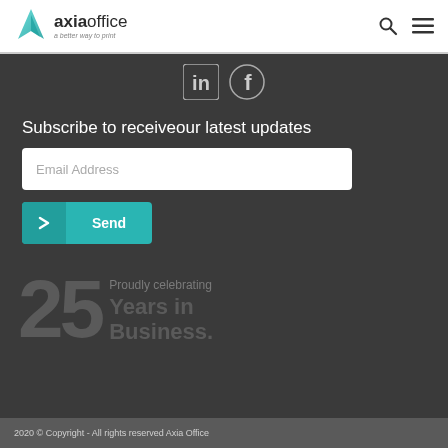axiaoffice — a better way to print
[Figure (logo): LinkedIn and Facebook social media icons on dark background]
Subscribe to receiveour latest updates
Email Address (input field placeholder)
Send (button)
[Figure (infographic): 25 Years in Business anniversary graphic with large stylized '25' numeral and text 'Proudly celebrating Years in Business.']
2020 © Copyright - All rights reserved Axia Office